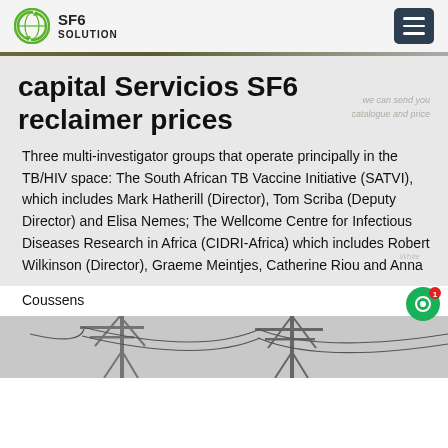SF6 SOLUTION
capital Servicios SF6 reclaimer prices
Three multi-investigator groups that operate principally in the TB/HIV space: The South African TB Vaccine Initiative (SATVI), which includes Mark Hatherill (Director), Tom Scriba (Deputy Director) and Elisa Nemes; The Wellcome Centre for Infectious Diseases Research in Africa (CIDRI-Africa) which includes Robert Wilkinson (Director), Graeme Meintjes, Catherine Riou and Anna Coussens
[Figure (photo): Photograph of electrical power line towers with cables against a grey sky]